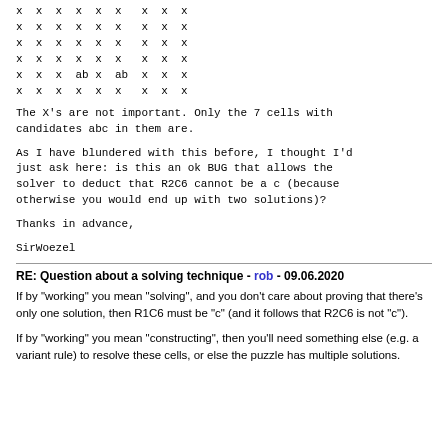x  x  x  x  x  x    x   x  x
x  x  x  x  x  x    x   x  x
x  x  x  x  x  x    x   x  x
x  x  x  x  x  x    x   x  x
x  x  x  ab x  ab  x   x  x
x  x  x  x  x  x    x   x  x
The X's are not important. Only the 7 cells with candidates abc in them are.
As I have blundered with this before, I thought I'd just ask here: is this an ok BUG that allows the solver to deduct that R2C6 cannot be a c (because otherwise you would end up with two solutions)?
Thanks in advance,
SirWoezel
RE: Question about a solving technique - rob - 09.06.2020
If by "working" you mean "solving", and you don't care about proving that there's only one solution, then R1C6 must be "c" (and it follows that R2C6 is not "c").
If by "working" you mean "constructing", then you'll need something else (e.g. a variant rule) to resolve these cells, or else the puzzle has multiple solutions.